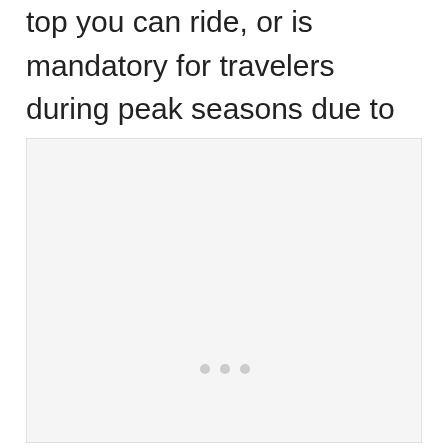top you can ride, or is mandatory for travelers during peak seasons due to limited parking at the top.
[Figure (photo): A large light gray/white rectangular placeholder image area with three small dots centered near the bottom third of the box.]